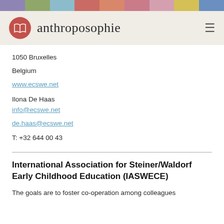[Figure (other): Colored horizontal stripe bar at top with multiple color segments]
anthroposophie (logo with book icon and hamburger menu)
1050 Bruxelles
Belgium
www.ecswe.net
Ilona De Haas
info@ecswe.net
de.haas@ecswe.net
T: +32 644 00 43
International Association for Steiner/Waldorf Early Childhood Education (IASWECE)
The goals are to foster co-operation among colleagues